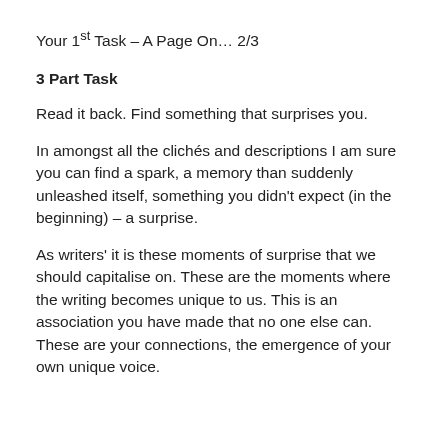Your 1st Task – A Page On… 2/3
3 Part Task
Read it back. Find something that surprises you.
In amongst all the clichés and descriptions I am sure you can find a spark, a memory than suddenly unleashed itself, something you didn't expect (in the beginning) – a surprise.
As writers' it is these moments of surprise that we should capitalise on. These are the moments where the writing becomes unique to us. This is an association you have made that no one else can. These are your connections, the emergence of your own unique voice.